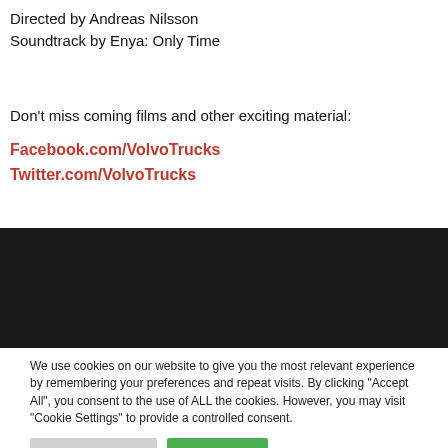Directed by Andreas Nilsson
Soundtrack by Enya: Only Time
Don't miss coming films and other exciting material:
Facebook.com/VolvoTrucks
Twitter.com/VolvoTrucks
[Figure (other): Black video player placeholder area]
We use cookies on our website to give you the most relevant experience by remembering your preferences and repeat visits. By clicking "Accept All", you consent to the use of ALL the cookies. However, you may visit "Cookie Settings" to provide a controlled consent.